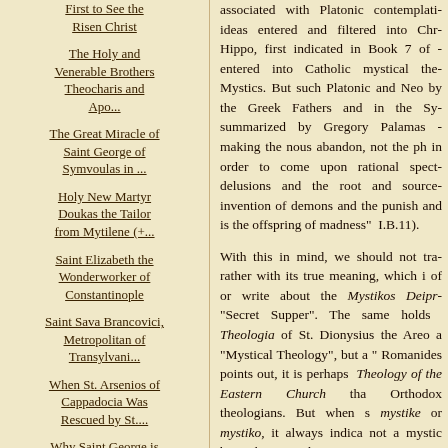First to See the Risen Christ
The Holy and Venerable Brothers Theocharis and Apo...
The Great Miracle of Saint George of Symvoulas in ...
Holy New Martyr Doukas the Tailor from Mytilene (+...
Saint Elizabeth the Wonderworker of Constantinople
Saint Sava Brancovici, Metropolitan of Transylvani...
When St. Arsenios of Cappadocia Was Rescued by St....
Why Saint George is Often Depicted Slaying a Dragon
associated with Platonic contemplati... ideas entered and filtered into Chr... Hippo, first indicated in Book 7 of ... entered into Catholic mystical the... Mystics. But such Platonic and Neo... by the Greek Fathers and in the Sy... summarized by Gregory Palamas ... making the nous abandon, not the ph... in order to come upon rational spect... delusions and the root and source... invention of demons and the punish... and is the offspring of madness" ... I.B.11).
With this in mind, we should not tra... rather with its true meaning, which i... of or write about the Mystikos Deipr... "Secret Supper". The same holds ... Theologia of St. Dionysius the Areo... a "Mystical Theology", but a "... Romanides points out, it is perhaps ... Theology of the Eastern Church tha... Orthodox theologians. But when s... mystike or mystiko, it always indica... not a mystic but rather one who initi...